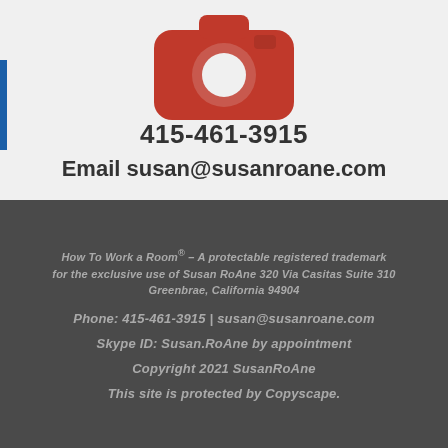[Figure (illustration): Red camera icon on grey background]
415-461-3915
Email susan@susanroane.com
How To Work a Room® – A protectable registered trademark for the exclusive use of Susan RoAne 320 Via Casitas Suite 310 Greenbrae, California 94904
Phone: 415-461-3915  |  susan@susanroane.com
Skype ID: Susan.RoAne by appointment
Copyright 2021 SusanRoAne
This site is protected by Copyscape.